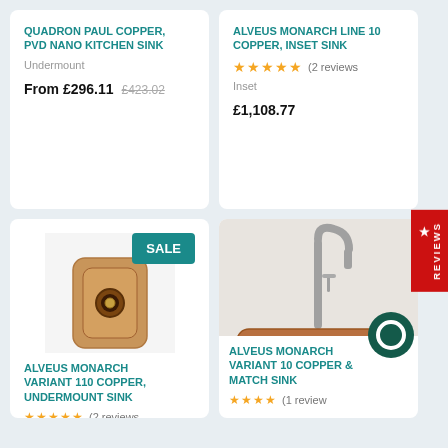QUADRON PAUL COPPER, PVD NANO KITCHEN SINK
Undermount
From £296.11  £423.02
ALVEUS MONARCH LINE 10 COPPER, INSET SINK
★★★★★ (2 reviews)
Inset
£1,108.77
[Figure (photo): Copper undermount kitchen sink with round drain, top view]
ALVEUS MONARCH VARIANT 110 COPPER, UNDERMOUNT SINK
★★★★★ (2 reviews)
[Figure (photo): Copper kitchen sink with faucet, front view]
ALVEUS MONARCH VARIANT 10 COPPER & MATCH SINK
★★★★ (1 review)